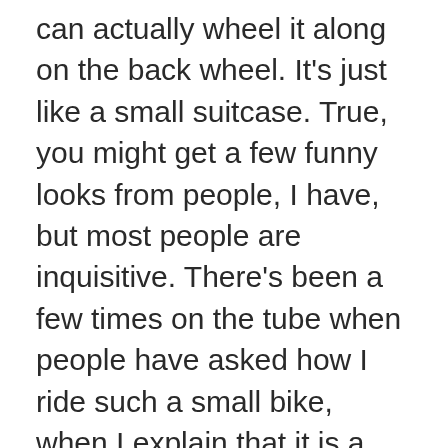can actually wheel it along on the back wheel. It's just like a small suitcase. True, you might get a few funny looks from people, I have, but most people are inquisitive. There's been a few times on the tube when people have asked how I ride such a small bike, when I explain that it is a scooter people often what to know more. Despite any worries you may have, I reckon your friends will be asking for a go before they start questioning your Swifty.
I wanted to share this hidden gem with you guys because I know there will be other people out there that have had enough of the dangerous cycle to work. Be a trendsetter and give the Swifty a go, you won't look back.